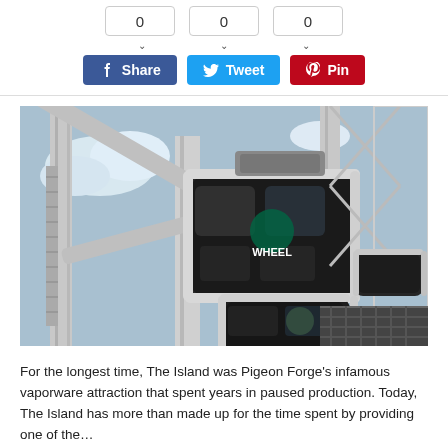[Figure (other): Social share widget with counter boxes showing 0, 0, 0 and buttons for Share (Facebook blue), Tweet (Twitter blue), Pin (Pinterest red)]
[Figure (photo): Close-up photo of gondola cabins on a large Ferris wheel structure called 'The Wheel', with white steel support beams and blue sky in background]
For the longest time, The Island was Pigeon Forge's infamous vaporware attraction that spent years in paused production. Today, The Island has more than made up for the time spent by providing one of the...